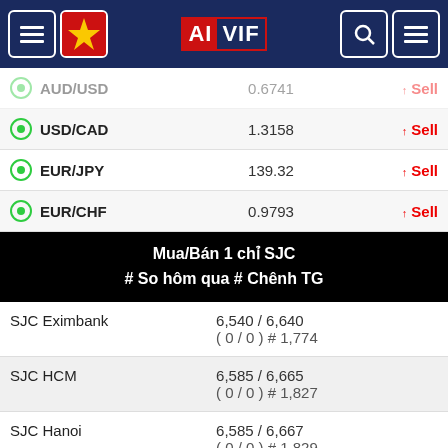AIVIF
| Pair | Rate | Action |
| --- | --- | --- |
| USD/CAD | 1.3158 | ↑ Sell |
| EUR/JPY | 139.32 | ↑ Sell |
| EUR/CHF | 0.9793 | ↑ Sell |
Mua/Bán 1 chỉ SJC # So hôm qua # Chênh TG
| Name | Value |
| --- | --- |
| SJC Eximbank | 6,540 / 6,640
(0 / 0) # 1,774 |
| SJC HCM | 6,585 / 6,665
(0 / 0) # 1,827 |
| SJC Hanoi | 6,585 / 6,667
(0 / 0) # 1,829 |
| SJC Danang | 6,585 / 6,667
(0 / 0) # 1,829 |
| SJC Nhatrang | 6,585 / 6,667
(0 / 0) # 1,829 |